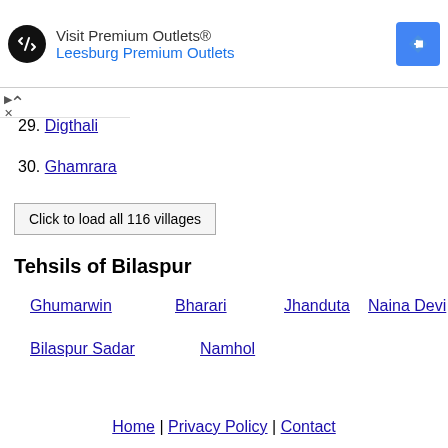[Figure (illustration): Advertisement banner for Visit Premium Outlets® / Leesburg Premium Outlets with logo and directions icon]
29. Digthali
30. Ghamrara
Click to load all 116 villages
Tehsils of Bilaspur
Ghumarwin
Bharari
Jhanduta
Naina Devi
Bilaspur Sadar
Namhol
Home | Privacy Policy | Contact